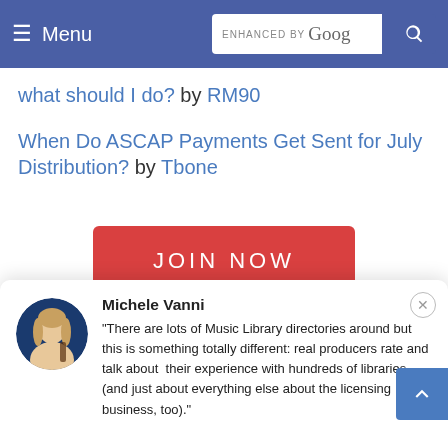Menu | ENHANCED BY Google [search bar]
what should I do? by RM90
When Do ASCAP Payments Get Sent for July Distribution? by Tbone
[Figure (other): JOIN NOW button (red rounded rectangle)]
Michele Vanni
"There are lots of Music Library directories around but this is something totally different: real producers rate and talk about their experience with hundreds of libraries (and just about everything else about the licensing business, too)."